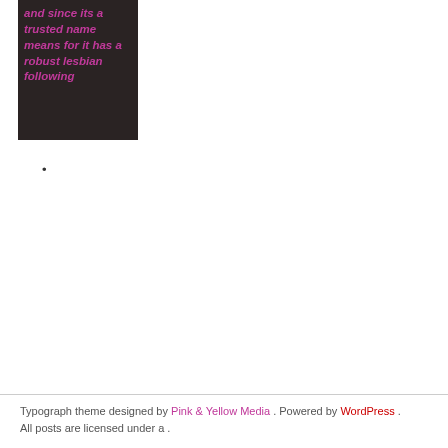[Figure (illustration): Dark background image block with pink italic bold text reading: 'and since its a trusted name means for it has a robust lesbian following']
.
Typograph theme designed by Pink & Yellow Media . Powered by WordPress . All posts are licensed under a .